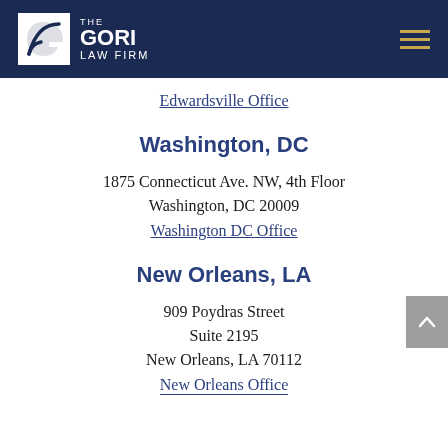[Figure (logo): The Gori Law Firm logo with white G icon on navy background, hamburger menu icon in gold]
Edwardsville Office
Washington, DC
1875 Connecticut Ave. NW, 4th Floor
Washington, DC 20009
Washington DC Office
New Orleans, LA
909 Poydras Street
Suite 2195
New Orleans, LA 70112
New Orleans Office